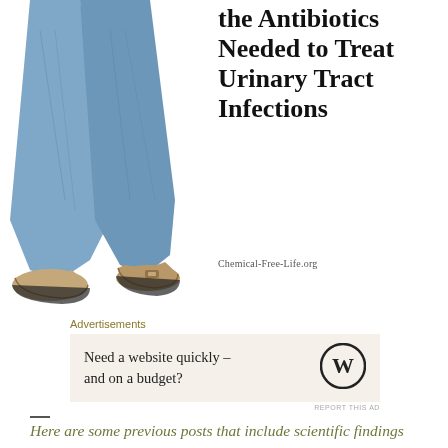[Figure (photo): Photo of lower body of person wearing blue jeans and tan/beige shoes, white background]
the Antibiotics Needed to Treat Urinary Tract Infections
Chemical-Free-Life.org
Advertisements
[Figure (other): Advertisement box: Need a website quickly – and on a budget? with WordPress logo]
REPORT THIS AD
Here are some previous posts that include scientific findings on Triclosan: